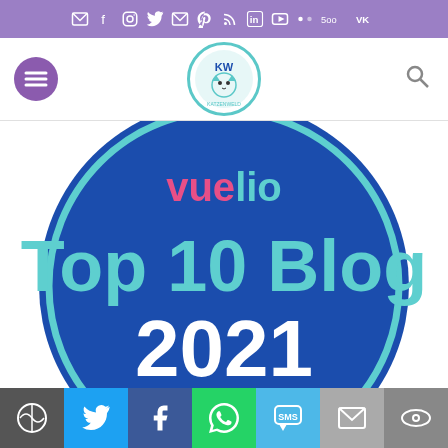Social media icon bar with email, facebook, instagram, twitter, email, pinterest, rss, linkedin, youtube, 500px, vk icons
[Figure (screenshot): Website navigation bar with hamburger menu button, cat logo (KatzenWald), and search icon]
[Figure (illustration): Vuelio Top 10 Blog 2021 badge — dark blue circle with teal border, showing 'vuelio' in pink/teal text, 'Top 10 Blog' in teal, and '2021' in white]
Share bar: WordPress, Twitter, Facebook, WhatsApp, SMS, Email, Copy link buttons